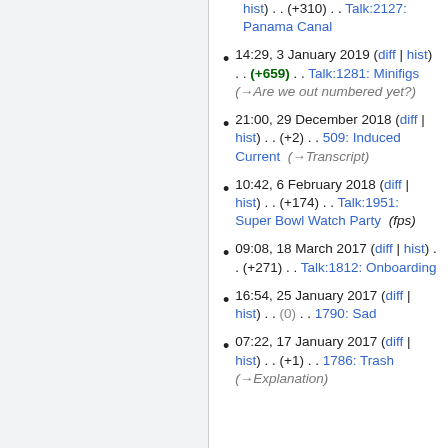hist) . . (+310) . . Talk:2127: Panama Canal
14:29, 3 January 2019 (diff | hist) . . (+659) . . Talk:1281: Minifigs  (→Are we out numbered yet?)
21:00, 29 December 2018 (diff | hist) . . (+2) . . 509: Induced Current  (→Transcript)
10:42, 6 February 2018 (diff | hist) . . (+174) . . Talk:1951: Super Bowl Watch Party  (fps)
09:08, 18 March 2017 (diff | hist) . . (+271) . . Talk:1812: Onboarding
16:54, 25 January 2017 (diff | hist) . . (0) . . 1790: Sad
07:22, 17 January 2017 (diff | hist) . . (+1) . . 1786: Trash (→Explanation)